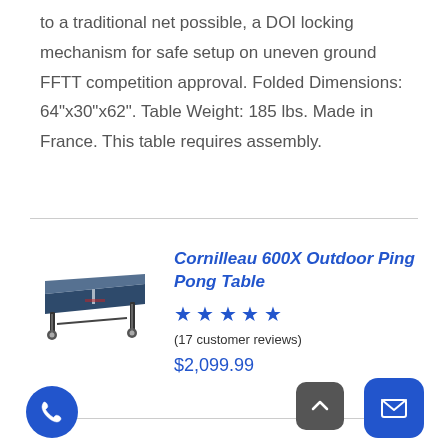to a traditional net possible, a DOI locking mechanism for safe setup on uneven ground FFTT competition approval. Folded Dimensions: 64"x30"x62". Table Weight: 185 lbs. Made in France. This table requires assembly.
[Figure (photo): Photo of a dark blue/grey ping pong table folded with wheels visible]
Cornilleau 600X Outdoor Ping Pong Table
★★★★★ (17 customer reviews) $2,099.99